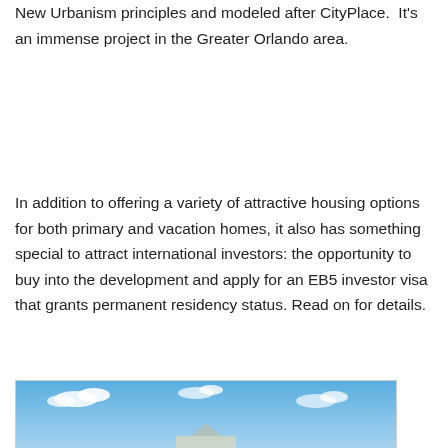New Urbanism principles and modeled after CityPlace.  It's an immense project in the Greater Orlando area.
In addition to offering a variety of attractive housing options for both primary and vacation homes, it also has something special to attract international investors: the opportunity to buy into the development and apply for an EB5 investor visa that grants permanent residency status. Read on for details.
[Figure (photo): Outdoor photo showing a blue sky with scattered white clouds, partial view of a building or structure at the bottom]